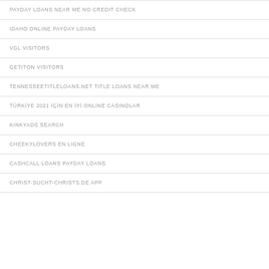PAYDAY LOANS NEAR ME NO CREDIT CHECK
IDAHO ONLINE PAYDAY LOANS
VGL VISITORS
GETITON VISITORS
TENNESSEETITLELOANS.NET TITLE LOANS NEAR ME
TÜRKİYE 2021 İÇİN EN İYİ ONLINE CASINOLAR
KINKYADS SEARCH
CHEEKYLOVERS EN LIGNE
CASHCALL LOANS PAYDAY LOANS
CHRIST-SUCHT-CHRISTS.DE APP